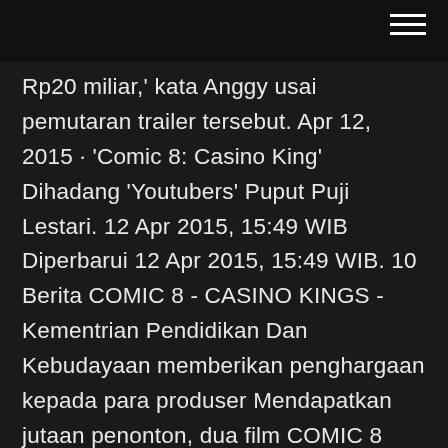hamburger menu icon
Rp20 miliar,' kata Anggy usai pemutaran trailer tersebut. Apr 12, 2015 · 'Comic 8: Casino King' Dihadang 'Youtubers' Puput Puji Lestari. 12 Apr 2015, 15:49 WIB Diperbarui 12 Apr 2015, 15:49 WIB. 10 Berita COMIC 8 - CASINO KINGS - Kementrian Pendidikan Dan Kebudayaan memberikan penghargaan kepada para produser Mendapatkan jutaan penonton, dua film COMIC 8 akhirnya berhasil mencatat prestasi ** Enjoy our AMAZING Vegas casino experience ** FROM THE CREATORS of Slotomania slots casino, House of Fun is full of 777 slots just waiting for you to get playing and get rewarded! 100 FREE SPINS waiting for you with even MORE 777 casino slots rewards, bonuses, and prizes! EXPERIENCE the thrill of slot machines directly from the Strip's most renowned slots casinos: Caesars, Rio, Flamingo